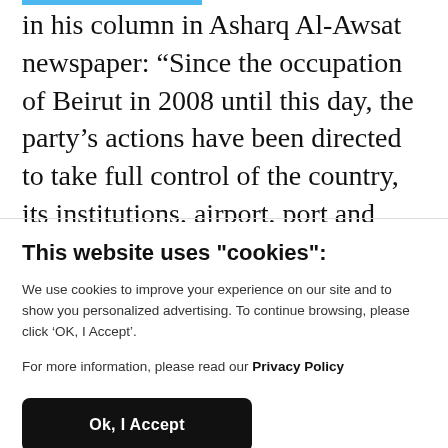in his column in Asharq Al-Awsat newspaper: “Since the occupation of Beirut in 2008 until this day, the party’s actions have been directed to take full control of the country, its institutions, airport, port and army, and finally the presidency and the parliament.
This website uses "cookies":
We use cookies to improve your experience on our site and to show you personalized advertising. To continue browsing, please click ‘OK, I Accept’.
For more information, please read our Privacy Policy
Ok, I Accept